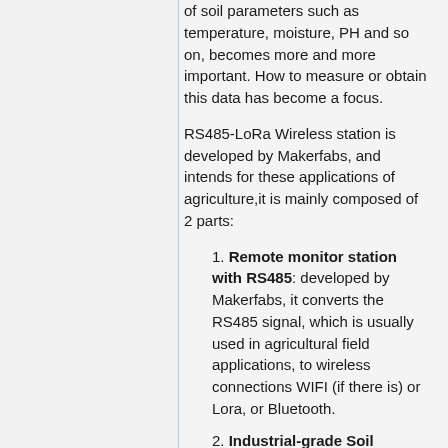of soil parameters such as temperature, moisture, PH and so on, becomes more and more important. How to measure or obtain this data has become a focus.
RS485-LoRa Wireless station is developed by Makerfabs, and intends for these applications of agriculture,it is mainly composed of 2 parts:
1. Remote monitor station with RS485: developed by Makerfabs, it converts the RS485 signal, which is usually used in agricultural field applications, to wireless connections WIFI (if there is) or Lora, or Bluetooth.
2. Industrial-grade Soil Sensor: unlike some other maker-level soil sensors that only output analog voltage that reflects the soil status/changes but not the absolute